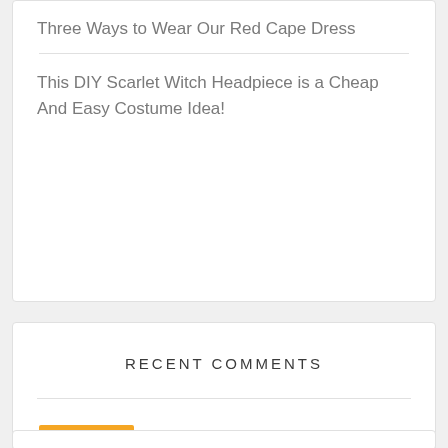Three Ways to Wear Our Red Cape Dress
This DIY Scarlet Witch Headpiece is a Cheap And Easy Costume Idea!
RECENT COMMENTS
Three Ways to Wear O… on This DIY Scarlet Witch Headpie…
Jenny on Another Great Puppy Birthday P…